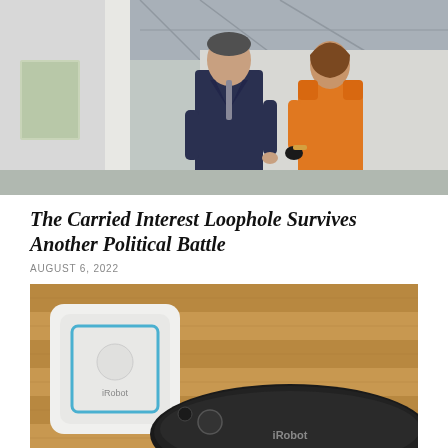[Figure (photo): Two people, a man in a dark suit and a woman in an orange dress, standing and talking in what appears to be a building interior with white walls and windows.]
The Carried Interest Loophole Survives Another Political Battle
AUGUST 6, 2022
[Figure (photo): Close-up of an iRobot Roomba robotic vacuum cleaner on a wooden floor, with its white charging dock visible nearby.]